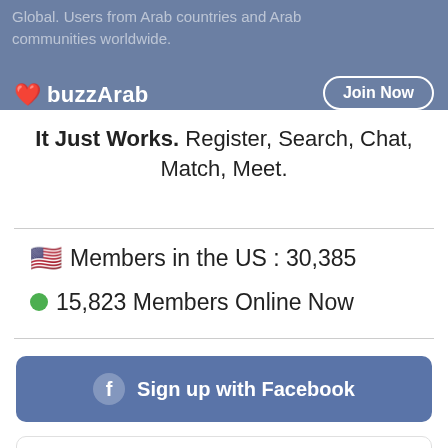Global. Users from Arab countries and Arab communities worldwide.
buzzArab
Join Now
It Just Works. Register, Search, Chat, Match, Meet.
🇺🇸 Members in the US : 30,385
● 15,823 Members Online Now
Sign up with Facebook
Sign up with Google